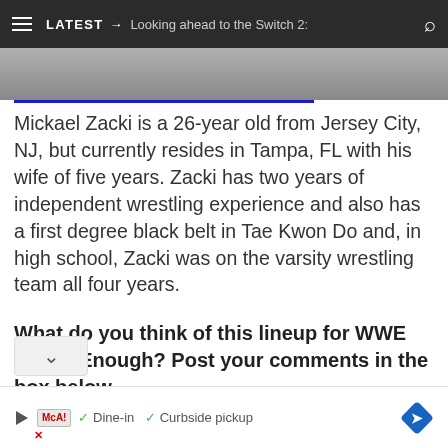LATEST → Looking ahead to the Switch 2:
[Figure (photo): Partial photo of a person, cropped at top of content area]
Mickael Zacki is a 26-year old from Jersey City, NJ, but currently resides in Tampa, FL with his wife of five years. Zacki has two years of independent wrestling experience and also has a first degree black belt in Tae Kwon Do and, in high school, Zacki was on the varsity wrestling team all four years.
What do you think of this lineup for WWE Tough Enough? Post your comments in the box below.
[Figure (screenshot): Ad banner at bottom: McAlister's Deli ad with Dine-in and Curbside pickup options]